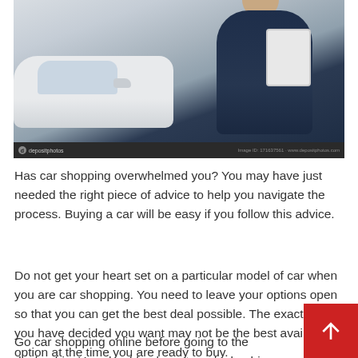[Figure (photo): A car salesman in a dark suit holding a tablet, standing next to a white car door, gesturing with his hand. Stock photo with depositphotos watermark.]
Has car shopping overwhelmed you? You may have just needed the right piece of advice to help you navigate the process. Buying a car will be easy if you follow this advice.
Do not get your heart set on a particular model of car when you are car shopping. You need to leave your options open so that you can get the best deal possible. The exact car you have decided you want may not be the best available option at the time you are ready to buy.
Go car shopping online before going to the dealership. You should only go to a dealership when you are sure about the make and model of the car that you want. You should do a little Internet research first to see what brand might work for you, which cars are the